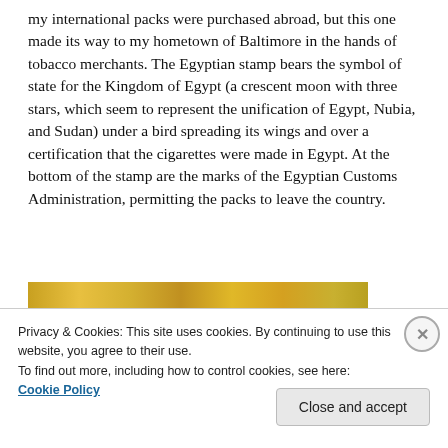my international packs were purchased abroad, but this one made its way to my hometown of Baltimore in the hands of tobacco merchants. The Egyptian stamp bears the symbol of state for the Kingdom of Egypt (a crescent moon with three stars, which seem to represent the unification of Egypt, Nubia, and Sudan) under a bird spreading its wings and over a certification that the cigarettes were made in Egypt. At the bottom of the stamp are the marks of the Egyptian Customs Administration, permitting the packs to leave the country.
[Figure (photo): Partial image strip showing colorful cigarette pack artwork in yellow/gold tones]
Privacy & Cookies: This site uses cookies. By continuing to use this website, you agree to their use.
To find out more, including how to control cookies, see here:
Cookie Policy
Close and accept